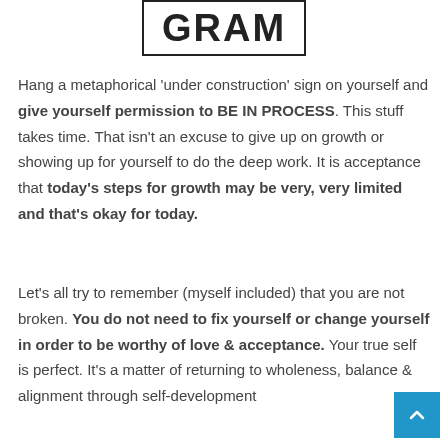[Figure (logo): Logo box with large bold text 'GRAM' partially visible]
Hang a metaphorical 'under construction' sign on yourself and give yourself permission to BE IN PROCESS. This stuff takes time. That isn't an excuse to give up on growth or showing up for yourself to do the deep work. It is acceptance that today's steps for growth may be very, very limited and that's okay for today.
Let's all try to remember (myself included) that you are not broken. You do not need to fix yourself or change yourself in order to be worthy of love & acceptance. Your true self is perfect. It's a matter of returning to wholeness, balance & alignment through self-development